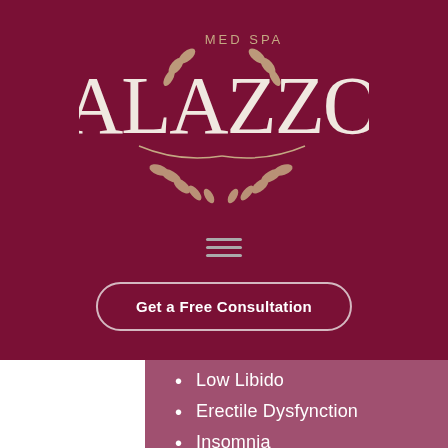[Figure (logo): Alazzo Med Spa logo with laurel wreath emblem on dark maroon background]
Get a Free Consultation
Low Libido
Erectile Dysfynction
Insomnia